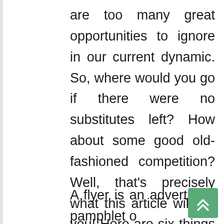are too many great opportunities to ignore in our current dynamic. So, where would you go if there were no substitutes left? How about some good old-fashioned competition? Well, that's precisely what this article will tell you! Here are six things you need to know about flyer printing in Burlington, ON.
A flyer is an advertising pamphlet or leaflet that lists the general